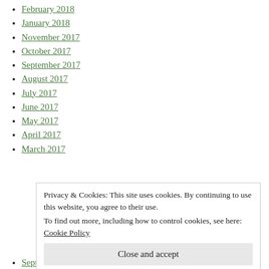February 2018
January 2018
November 2017
October 2017
September 2017
August 2017
July 2017
June 2017
May 2017
April 2017
March 2017
Privacy & Cookies: This site uses cookies. By continuing to use this website, you agree to their use. To find out more, including how to control cookies, see here: Cookie Policy
Close and accept
September 2016